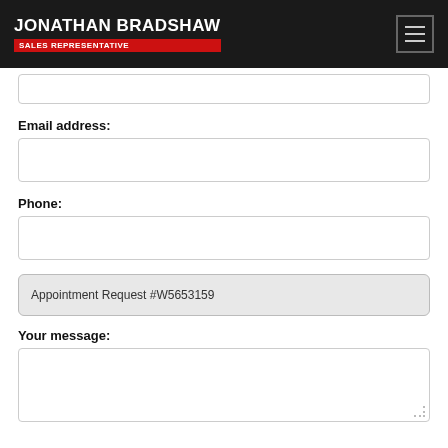JONATHAN BRADSHAW SALES REPRESENTATIVE
Email address:
Phone:
Appointment Request #W5653159
Your message: